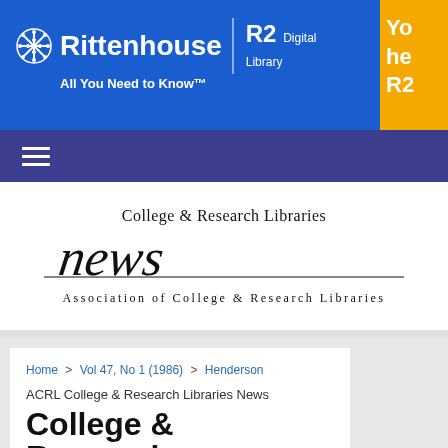[Figure (logo): Rittenhouse R2 Digital Library header banner with blue background, Rittenhouse snowflake logo, and yellow promotional block on the right]
[Figure (logo): College & Research Libraries News journal logo with script lettering and Association of College & Research Libraries text]
Home > Vol 47, No 1 (1986) > Henderson
ACRL College & Research Libraries News
College & Research